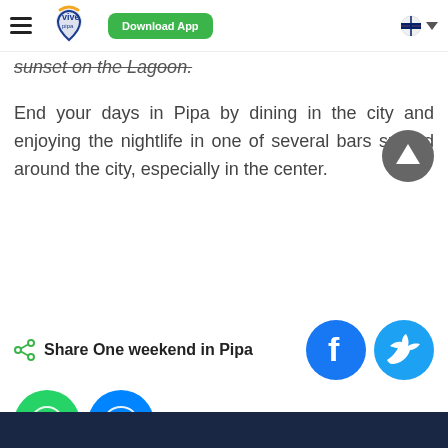Vive Pipa | Download App
sunset on the Lagoon.
End your days in Pipa by dining in the city and enjoying the nightlife in one of several bars spread around the city, especially in the center.
Share One weekend in Pipa